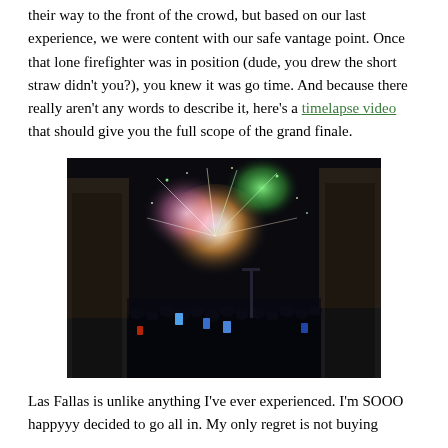their way to the front of the crowd, but based on our last experience, we were content with our safe vantage point. Once that lone firefighter was in position (dude, you drew the short straw didn't you?), you knew it was go time. And because there really aren't any words to describe it, here's a timelapse video that should give you the full scope of the grand finale.
[Figure (photo): Night photo of a crowd of people holding up phones to photograph a fireworks display bursting in the sky above a city street, with bright white, green and pink fireworks illuminating the dark scene.]
Las Fallas is unlike anything I've ever experienced. I'm SOOO happyyy decided to go all in. My only regret is not buying...